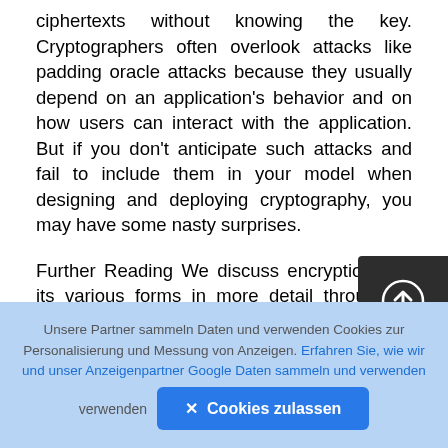ciphertexts without knowing the key. Cryptographers often overlook attacks like padding oracle attacks because they usually depend on an application's behavior and on how users can interact with the application. But if you don't anticipate such attacks and fail to include them in your model when designing and deploying cryptography, you may have some nasty surprises.
Further Reading We discuss encryption and its various forms in more detail throughout this, especially how modern, secure ciphers work. Still, we can't cover everything, and many fascinating topics won't be discussed. For example, to
[Figure (other): Dark rounded square button with a circle and upward arrow icon (upload/navigate button)]
Unsere Partner sammeln Daten und verwenden Cookies zur Personalisierung und Messung von Anzeigen. Erfahren Sie, wie wir und unser Anzeigenpartner Google Daten sammeln und verwenden
✕ Cookies zulassen